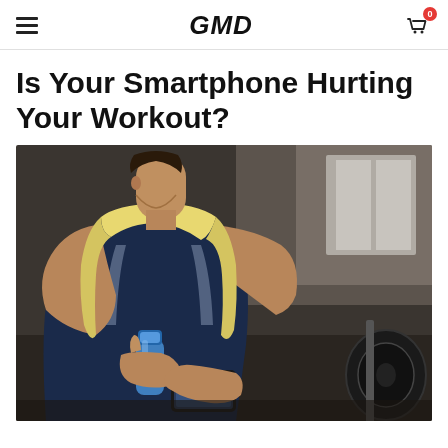GMD
Is Your Smartphone Hurting Your Workout?
[Figure (photo): A muscular man wearing a dark sleeveless shirt with a yellow towel around his neck, holding a blue water bottle in one hand and a smartphone in the other, in a gym setting with weights visible in the background.]